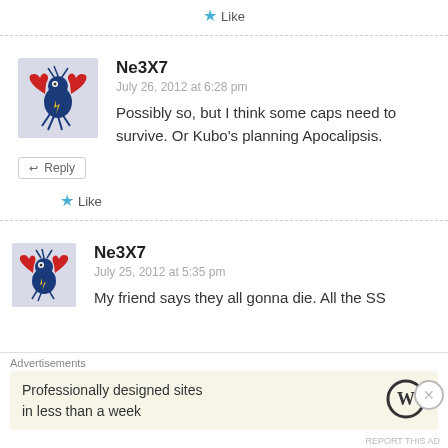★ Like
Ne3X7
July 26, 2012 at 6:28 pm
Possibly so, but I think some caps need to survive. Or Kubo's planning Apocalipsis.
★ Like
Ne3X7
July 25, 2012 at 5:35 pm
My friend says they all gonna die. All the SS
Advertisements
Professionally designed sites in less than a week